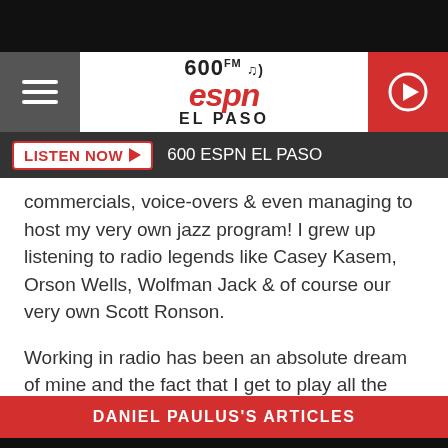[Figure (logo): 600 FM ESPN El Paso radio station logo with hamburger menu and play button]
LISTEN NOW  600 ESPN EL PASO
commercials, voice-overs & even managing to host my very own jazz program! I grew up listening to radio legends like Casey Kasem, Orson Wells, Wolfman Jack & of course our very own Scott Ronson.
Working in radio has been an absolute dream of mine and the fact that I get to play all the rock songs I grew up listening to on the radio for a living, makes it 10 times better & I love every second of it!
DANIEL PAULUS'S ARTICLES